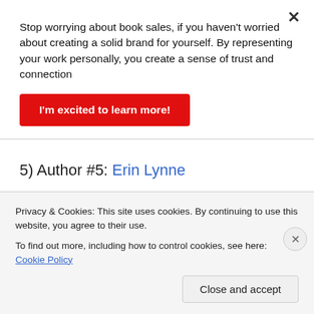Stop worrying about book sales, if you haven't worried about creating a solid brand for yourself. By representing your work personally, you create a sense of trust and connection
I'm excited to learn more!
5) Author #5: Erin Lynne
Such a hard question because this depends on my mood. Lately I have been into the Enemies to Lovers trope because I love the push and pull of emotions between the
Privacy & Cookies: This site uses cookies. By continuing to use this website, you agree to their use.
To find out more, including how to control cookies, see here: Cookie Policy
Close and accept